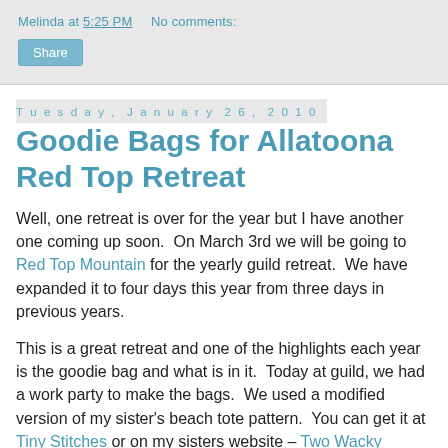Melinda at 5:25 PM   No comments:
Share
Tuesday, January 26, 2010
Goodie Bags for Allatoona Red Top Retreat
Well, one retreat is over for the year but I have another one coming up soon.  On March 3rd we will be going to Red Top Mountain for the yearly guild retreat.  We have expanded it to four days this year from three days in previous years.
This is a great retreat and one of the highlights each year is the goodie bag and what is in it.  Today at guild, we had a work party to make the bags.  We used a modified version of my sister's beach tote pattern.  You can get it at Tiny Stitches or on my sisters website – Two Wacky Women.  The modification makes it larger and eliminates the center bottom seam, among other things.